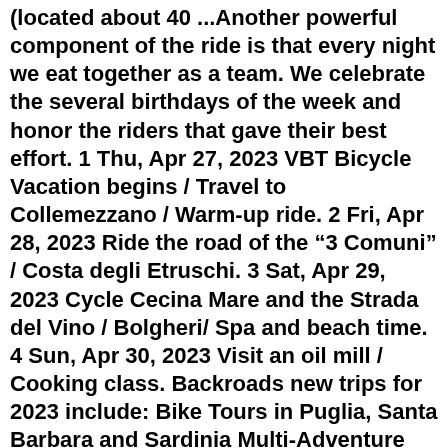(located about 40 ...Another powerful component of the ride is that every night we eat together as a team. We celebrate the several birthdays of the week and honor the riders that gave their best effort. 1 Thu, Apr 27, 2023 VBT Bicycle Vacation begins / Travel to Collemezzano / Warm-up ride. 2 Fri, Apr 28, 2023 Ride the road of the “3 Comuni” / Costa degli Etruschi. 3 Sat, Apr 29, 2023 Cycle Cecina Mare and the Strada del Vino / Bolgheri/ Spa and beach time. 4 Sun, Apr 30, 2023 Visit an oil mill / Cooking class. Backroads new trips for 2023 include: Bike Tours in Puglia, Santa Barbara and Sardinia Multi-Adventure Tours in Baja California and the Carolinas Walking & Hiking Tours in the Dolomites & Lake...Our Europe bike tours feature the very best off-the-beaten-path routes, incredible cuisine and luxurious hotels. Enjoy the most unforgettable experiences of Europe, from hidden trails to Michelin-star meals, and savor our thoughtfully planned routes on all our European bicycle trips whether you're traveling in Slovakia or Spain.Tour de France 2022 - stage 21